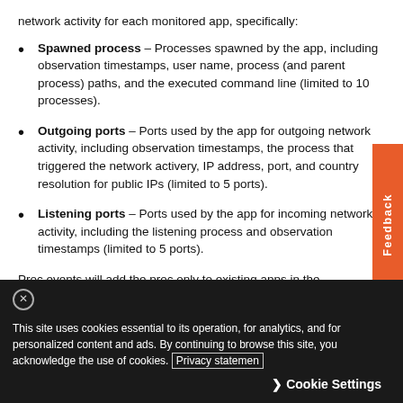network activity for each monitored app, specifically:
Spawned process – Processes spawned by the app, including observation timestamps, user name, process (and parent process) paths, and the executed command line (limited to 10 processes).
Outgoing ports – Ports used by the app for outgoing network activity, including observation timestamps, the process that triggered the network activery, IP address, port, and country resolution for public IPs (limited to 5 ports).
Listening ports – Ports used by the app for incoming network activity, including the listening process and observation timestamps (limited to 5 ports).
Proc events will add the proc only to existing apps in the
This site uses cookies essential to its operation, for analytics, and for personalized content and ads. By continuing to browse this site, you acknowledge the use of cookies. Privacy statement Cookie Settings